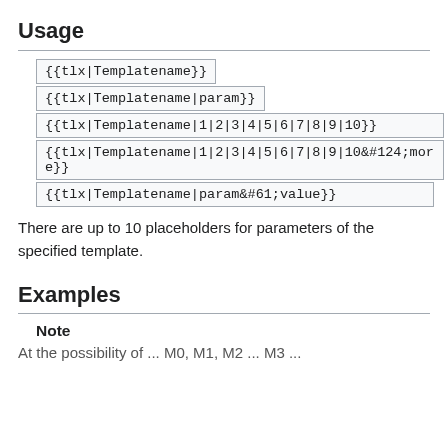Usage
{{tlx|Templatename}}
{{tlx|Templatename|param}}
{{tlx|Templatename|1|2|3|4|5|6|7|8|9|10}}
{{tlx|Templatename|1|2|3|4|5|6|7|8|9|10&#124;more}}
{{tlx|Templatename|param&#61;value}}
There are up to 10 placeholders for parameters of the specified template.
Examples
Note
At the possibility of ... M0, M1, M2 ... M3 ...